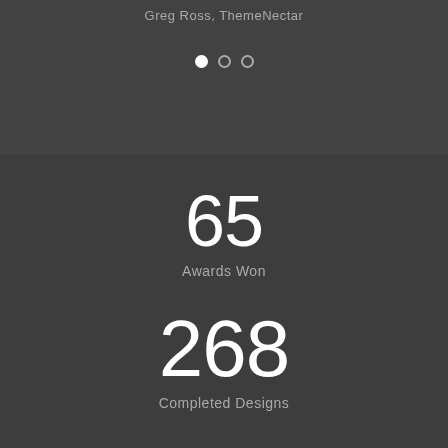Greg Ross, ThemeNectar
[Figure (infographic): Carousel navigation dots: one filled white dot and two empty/outlined dots]
65
Awards Won
268
Completed Designs